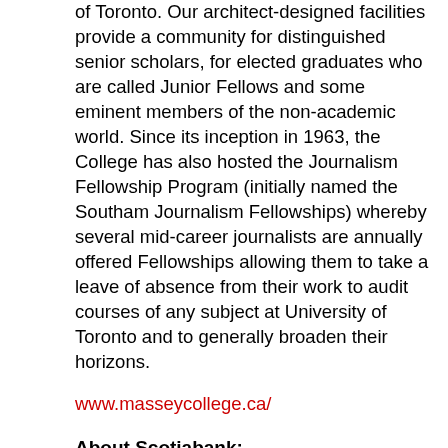of Toronto. Our architect-designed facilities provide a community for distinguished senior scholars, for elected graduates who are called Junior Fellows and some eminent members of the non-academic world. Since its inception in 1963, the College has also hosted the Journalism Fellowship Program (initially named the Southam Journalism Fellowships) whereby several mid-career journalists are annually offered Fellowships allowing them to take a leave of absence from their work to audit courses of any subject at University of Toronto and to generally broaden their horizons.
www.masseycollege.ca/
About Scotiabank:
Through our global philanthropic program, Scotiabank and its employees support causes at a grassroots level. Recognized as a leader for our charitable